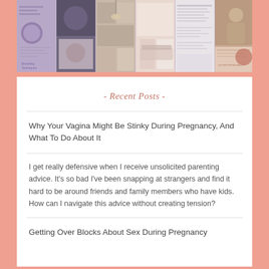[Figure (illustration): A collage/strip of lifestyle and wellness blog template images including text layouts, photos of people, and decorative elements in muted purple, pink, and neutral tones.]
- Recent Posts -
Why Your Vagina Might Be Stinky During Pregnancy, And What To Do About It
I get really defensive when I receive unsolicited parenting advice. It's so bad I've been snapping at strangers and find it hard to be around friends and family members who have kids. How can I navigate this advice without creating tension?
Getting Over Blocks About Sex During Pregnancy